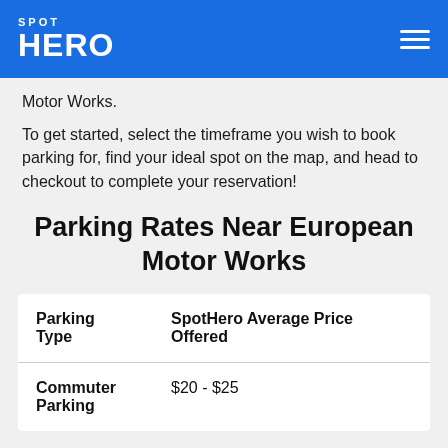SPOT HERO
Motor Works.
To get started, select the timeframe you wish to book parking for, find your ideal spot on the map, and head to checkout to complete your reservation!
Parking Rates Near European Motor Works
| Parking Type | SpotHero Average Price Offered |
| --- | --- |
| Commuter Parking | $20 - $25 |